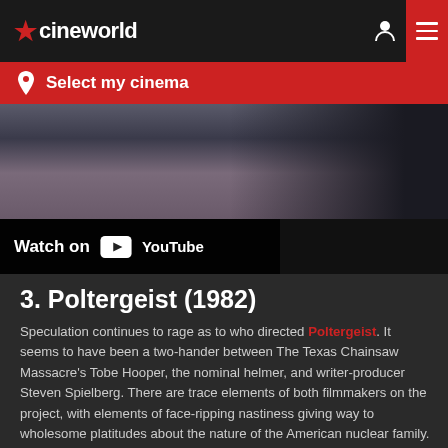cineworld
Select my cinema
[Figure (screenshot): Video thumbnail partially visible showing a dark blurred scene, with a 'Watch on YouTube' overlay badge in the lower-left corner on a dark background.]
3. Poltergeist (1982)
Speculation continues to rage as to who directed Poltergeist. It seems to have been a two-hander between The Texas Chainsaw Massacre's Tobe Hooper, the nominal helmer, and writer-producer Steven Spielberg. There are trace elements of both filmmakers on the project, with elements of face-ripping nastiness giving way to wholesome platitudes about the nature of the American nuclear family. (This would be drawn out further in Spielberg's blockbusting E.T. The Extra Terrestrial, released the same year.)